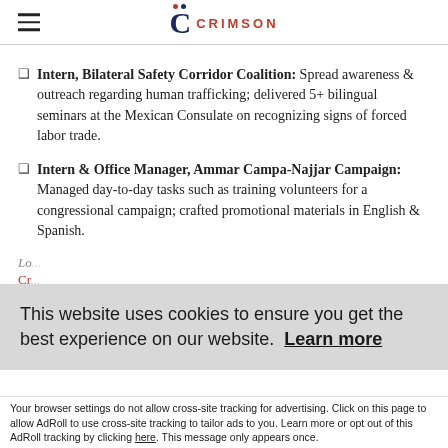CRIMSON
Intern, Bilateral Safety Corridor Coalition: Spread awareness & outreach regarding human trafficking; delivered 5+ bilingual seminars at the Mexican Consulate on recognizing signs of forced labor trade.
Intern & Office Manager, Ammar Campa-Najjar Campaign: Managed day-to-day tasks such as training volunteers for a congressional campaign; crafted promotional materials in English & Spanish.
Lo... Cr...
This website uses cookies to ensure you get the best experience on our website. Learn more
Accept and Close ✕
Your browser settings do not allow cross-site tracking for advertising. Click on this page to allow AdRoll to use cross-site tracking to tailor ads to you. Learn more or opt out of this AdRoll tracking by clicking here. This message only appears once.